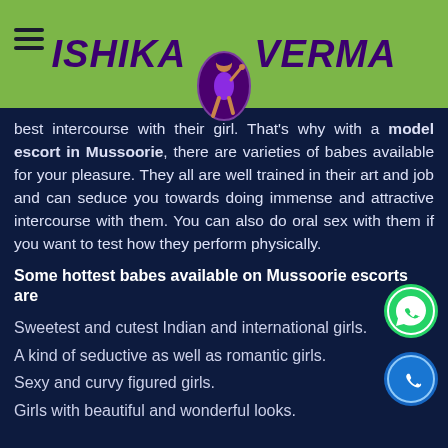ISHIKA VERMA
best intercourse with their girl. That's why with a model escort in Mussoorie, there are varieties of babes available for your pleasure. They all are well trained in their art and job and can seduce you towards doing immense and attractive intercourse with them. You can also do oral sex with them if you want to test how they perform physically.
Some hottest babes available on Mussoorie escorts are
Sweetest and cutest Indian and international girls.
A kind of seductive as well as romantic girls.
Sexy and curvy figured girls.
Girls with beautiful and wonderful looks.